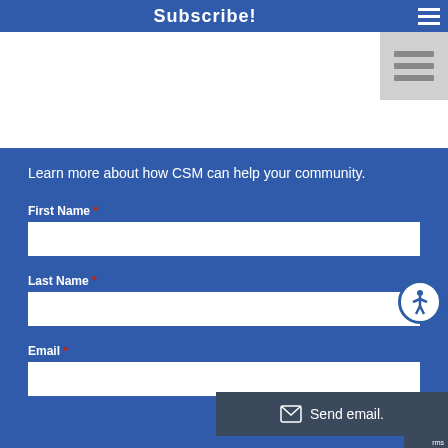Subscribe!
Learn more about how CSM can help your community.
First Name *
Last Name *
Email *
Send email.